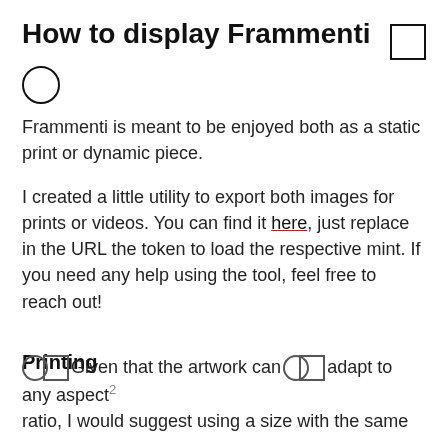How to display Frammenti
Frammenti is meant to be enjoyed both as a static print or dynamic piece.
I created a little utility to export both images for prints or videos. You can find it here, just replace in the URL the token to load the respective mint. If you need any help using the tool, feel free to reach out!
Printing
Given that the artwork can adapt to any aspect ratio, I would suggest using a size with the same